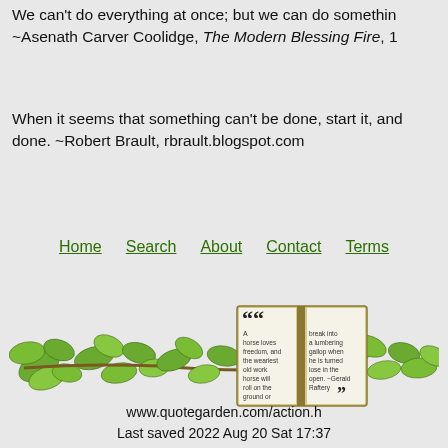We can't do everything at once; but we can do something at once. ~Asenath Carver Coolidge, The Modern Blessing Fire, 1
When it seems that something can't be done, start it, and you'll find it can be done. ~Robert Brault, rbrault.blogspot.com
Home | Search | About | Contact | Terms
[Figure (illustration): An illustration of an open book with a quote text inside, surrounded by green ivy leaves on a vine stretching horizontally.]
www.quotegarden.com/action.h Last saved 2022 Aug 20 Sat 17:37